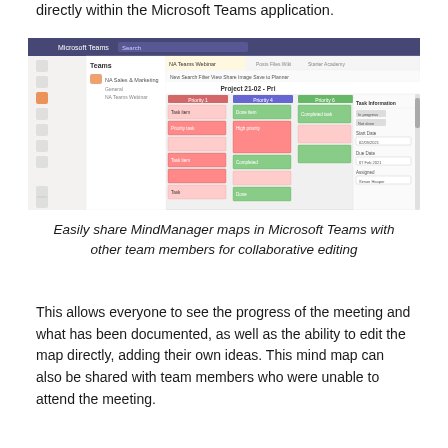directly within the Microsoft Teams application.
[Figure (screenshot): Screenshot of Microsoft Teams application showing a project board with task cards in various priority columns, alongside a task detail panel on the right, and a left navigation sidebar showing Teams channels including NA Teams Webinar.]
Easily share MindManager maps in Microsoft Teams with other team members for collaborative editing
This allows everyone to see the progress of the meeting and what has been documented, as well as the ability to edit the map directly, adding their own ideas. This mind map can also be shared with team members who were unable to attend the meeting.